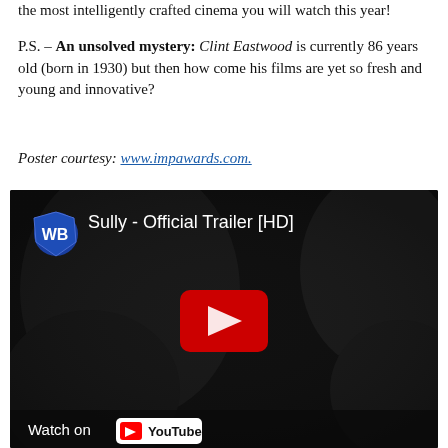the most intelligently crafted cinema you will watch this year!
P.S. – An unsolved mystery: Clint Eastwood is currently 86 years old (born in 1930) but then how come his films are yet so fresh and young and innovative?
Poster courtesy: www.impawards.com.
[Figure (screenshot): YouTube embedded video thumbnail for 'Sully - Official Trailer [HD]' with Warner Bros logo, dark cinematic still from the film, red YouTube play button in center, and 'Watch on YouTube' at bottom.]